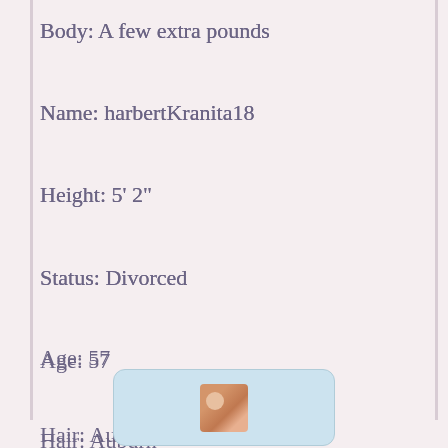Body: A few extra pounds
Name: harbertKranita18
Height: 5' 2"
Status: Divorced
Age: 57
Hair: Auburn
City: Amarillo, TX 79121
[Figure (photo): Small thumbnail photo of a person with auburn hair, displayed in a light blue rounded rectangle container]